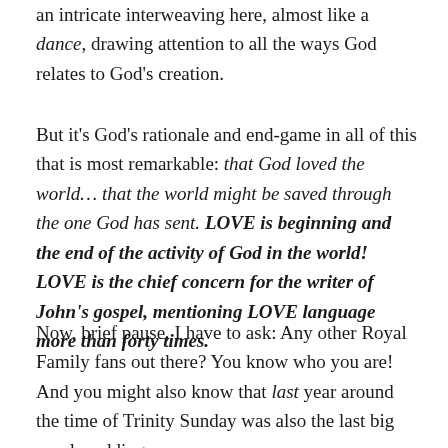an intricate interweaving here, almost like a dance, drawing attention to all the ways God relates to God's creation.
But it's God's rationale and end-game in all of this that is most remarkable: that God loved the world... that the world might be saved through the one God has sent. LOVE is beginning and the end of the activity of God in the world! LOVE is the chief concern for the writer of John's gospel, mentioning LOVE language more than forty times.
Now, brief pause, I have to ask: Any other Royal Family fans out there? You know who you are! And you might also know that last year around the time of Trinity Sunday was also the last big royal wedding,